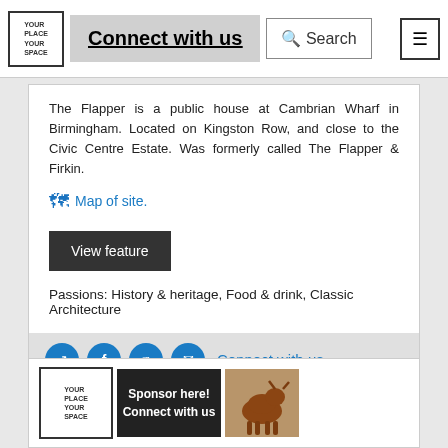Connect with us | Search
The Flapper is a public house at Cambrian Wharf in Birmingham. Located on Kingston Row, and close to the Civic Centre Estate. Was formerly called The Flapper & Firkin.
Map of site.
View feature
Passions: History & heritage, Food & drink, Classic Architecture
Connect with us
[Figure (screenshot): Sponsor card with logo, sponsor banner, and bull statue image]
Sponsor here! Connect with us